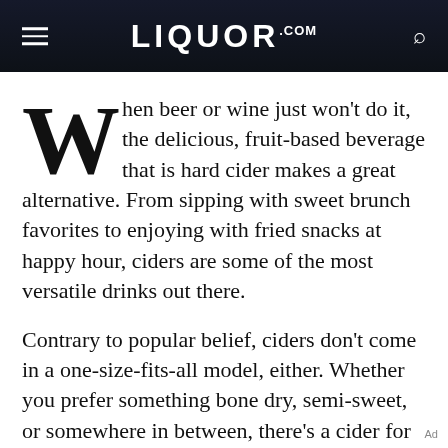LIQUOR.COM
When beer or wine just won't do it, the delicious, fruit-based beverage that is hard cider makes a great alternative. From sipping with sweet brunch favorites to enjoying with fried snacks at happy hour, ciders are some of the most versatile drinks out there.
Contrary to popular belief, ciders don't come in a one-size-fits-all model, either. Whether you prefer something bone dry, semi-sweet, or somewhere in between, there's a cider for every palate. Here are